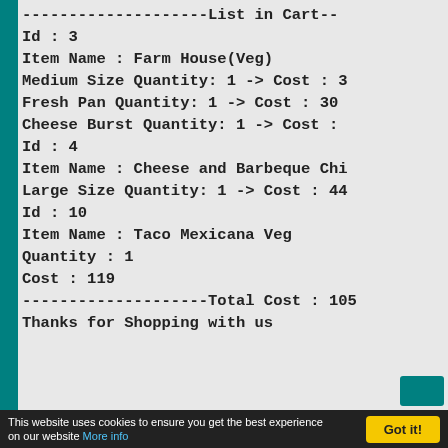--------------------List in Cart--
Id : 3
Item Name : Farm House(Veg)
Medium Size Quantity: 1 -> Cost : 3
Fresh Pan Quantity: 1 -> Cost : 30
Cheese Burst Quantity: 1 -> Cost :
Id : 4
Item Name : Cheese and Barbeque Chi
Large Size Quantity: 1 -> Cost : 44
Id : 10
Item Name : Taco Mexicana Veg
Quantity : 1
Cost : 119
--------------------Total Cost : 105
Thanks for Shopping with us
This website uses cookies to ensure you get the best experience on our website More info  Got it!